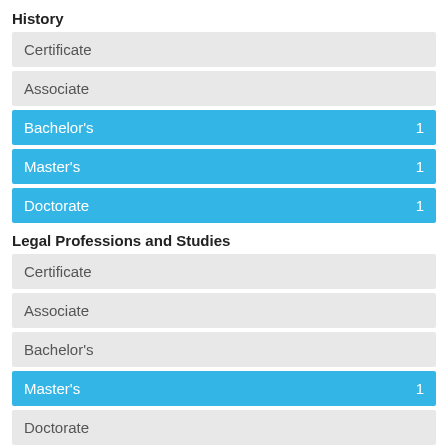History
Certificate
Associate
Bachelor's 1
Master's 1
Doctorate 1
Legal Professions and Studies
Certificate
Associate
Bachelor's
Master's 1
Doctorate
Liberal Arts and Sciences, General Studies and Humanities
Certificate 2